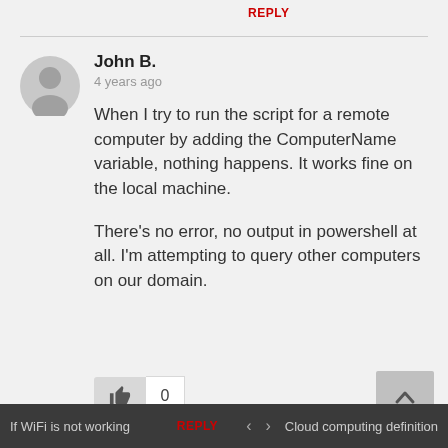REPLY
John B.
4 years ago
When I try to run the script for a remote computer by adding the ComputerName variable, nothing happens. It works fine on the local machine.

There’s no error, no output in powershell at all. I’m attempting to query other computers on our domain.
REPLY
If WiFi is not working    <    >    Cloud computing definition